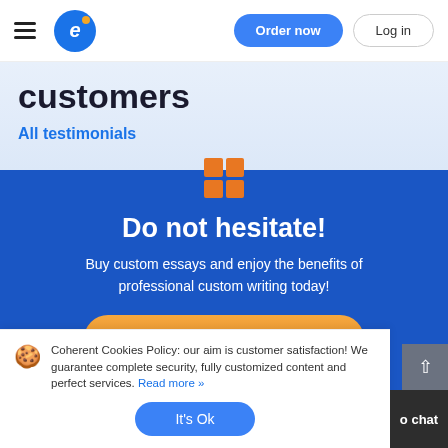Order now | Log in
customers
All testimonials
[Figure (logo): Orange Windows-style 4-square grid icon above blue CTA section]
Do not hesitate!
Buy custom essays and enjoy the benefits of professional custom writing today!
Order now
Coherent Cookies Policy: our aim is customer satisfaction! We guarantee complete security, fully customized content and perfect services. Read more »
It's Ok